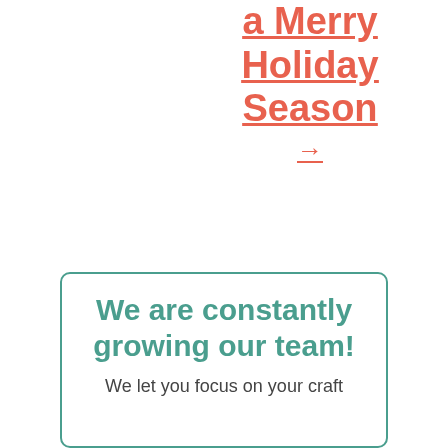a Merry Holiday Season →
We are constantly growing our team! We let you focus on your craft